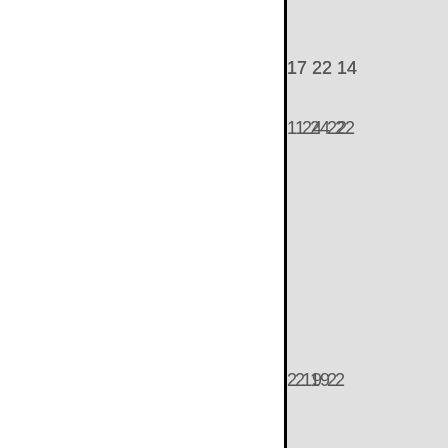17 22 14
1 24 22
2 19 2
2
25
[Figure (other): Small graphical element with two dots and a bar]
2
4 1 2 1
5 7 6 1